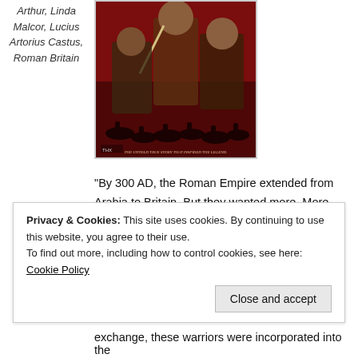Arthur, Linda Malcor, Lucius Artorius Castus, Roman Britain
[Figure (photo): Movie poster for King Arthur featuring three characters with swords against a red background, with text 'The Untold True Story That Inspired The Legend.']
“By 300 AD, the Roman Empire extended from Arabia to Britain. But they wanted more. More land, more peoples loyal and subservient to Rome. But no people so important as the powerful Sarmatians to the east.
Privacy & Cookies: This site uses cookies. By continuing to use this website, you agree to their use.
To find out more, including how to control cookies, see here: Cookie Policy
Close and accept
exchange, these warriors were incorporated into the